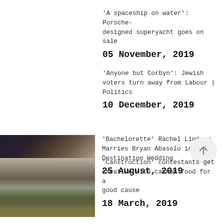'A spaceship on water': Porsche-designed superyacht goes on sale
05 November, 2019
'Anyone but Corbyn': Jewish voters turn away from Labour | Politics
10 December, 2019
[Figure (photo): Couple posing together, smiling, indoors]
'Bachelorette' Rachel Lindsay Marries Bryan Abasolo in Destination Wedding
25 August, 2019
[Figure (photo): People building structures with cans at a canstruction event]
'Canstruction' contestants get creative with canned food for a good cause
18 March, 2019